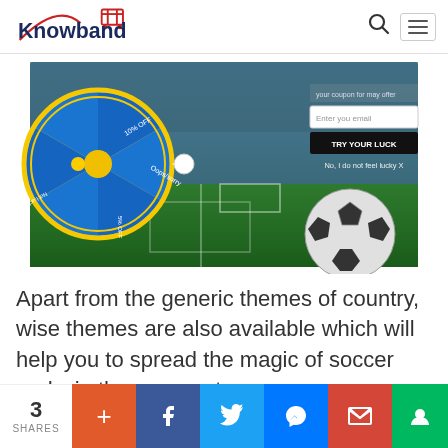Knowband
[Figure (screenshot): Spin-the-wheel popup with soccer stadium background showing a prize wheel with segments labeled '10% OFF', 'Oops/sorry', 'Not Lucky Today', '5% OFF', an email input field saying 'Enter you email', a 'TRY YOUR LUCK' button, 'No, I do not feel lucky X' link, and a soccer ball in the foreground on a green pitch.]
Apart from the generic themes of country, wise themes are also available which will help you to spread the magic of soccer and win the new customers.
3 SHARES + f (twitter) (messenger) M (chat)